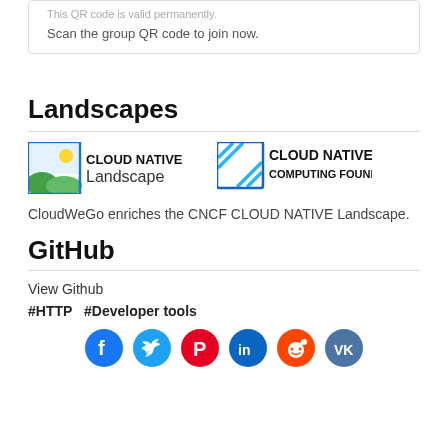This QR code is valid permanently.
Scan the group QR code to join now.
Landscapes
[Figure (logo): Cloud Native Landscape logo and Cloud Native Computing Foundation logo side by side]
CloudWeGo enriches the CNCF CLOUD NATIVE Landscape.
GitHub
View Github
#HTTP  #Developer tools
[Figure (infographic): Social share icons: Facebook, Twitter, Pinterest, LinkedIn, Reddit, VK]